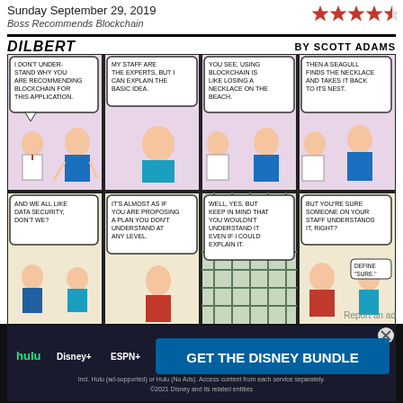Sunday September 29, 2019
Boss Recommends Blockchain
[Figure (other): Star rating: 3.5 out of 5 stars]
DILBERT BY SCOTT ADAMS
[Figure (illustration): Dilbert comic strip 'Boss Recommends Blockchain' - 8 panels showing Dilbert and his boss discussing blockchain, with the boss using a seagull/necklace analogy and admitting he doesn't understand it.]
[Figure (infographic): Social sharing buttons: Email (red), Facebook (dark blue), Twitter (blue), LinkedIn (blue), Comment (red), Cart (red)]
Tags
#boss, #business, #computer software, #managers & supervisors, #office workers, #technology
[Figure (screenshot): Advertisement: Hulu Disney+ ESPN+ GET THE DISNEY BUNDLE - Incl. Hulu (ad-supported) or Hulu (No Ads). Access content from each service separately. ©2021 Disney and its related entities]